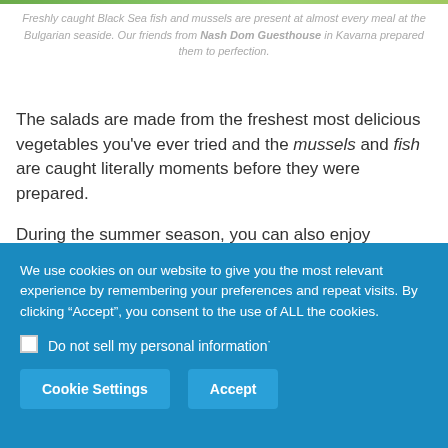Freshly caught Black Sea fish and mussels are present at almost every meal at the Bulgarian seaside. Our friends from Nash Dom Guesthouse in Kavarna prepared them to perfection.
The salads are made from the freshest most delicious vegetables you've ever tried and the mussels and fish are caught literally moments before they were prepared.

During the summer season, you can also enjoy escargots from the eco-farm in Balgarevo.
We use cookies on our website to give you the most relevant experience by remembering your preferences and repeat visits. By clicking “Accept”, you consent to the use of ALL the cookies.
Do not sell my personal information.
Cookie Settings | Accept